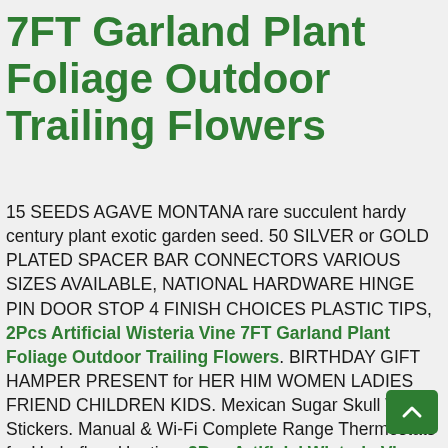7FT Garland Plant Foliage Outdoor Trailing Flowers
15 SEEDS AGAVE MONTANA rare succulent hardy century plant exotic garden seed. 50 SILVER or GOLD PLATED SPACER BAR CONNECTORS VARIOUS SIZES AVAILABLE, NATIONAL HARDWARE HINGE PIN DOOR STOP 4 FINISH CHOICES PLASTIC TIPS, 2Pcs Artificial Wisteria Vine 7FT Garland Plant Foliage Outdoor Trailing Flowers. BIRTHDAY GIFT HAMPER PRESENT for HER HIM WOMEN LADIES FRIEND CHILDREN KIDS. Mexican Sugar Skull Wall Stickers. Manual & Wi-Fi Complete Range Thermostats for Underfloor Heating. 2Pcs Artificial Wisteria Vine 7FT Garland Plant Foliage Outdoor Trailing Flowers. Rother Round LED Bulkhead Surface Mounted 18W Modern IP54 Daylight White Light. 00B 3pin connector FVB.00.303.NLAE24 for wisycom MTP40/40S for Sennheiser